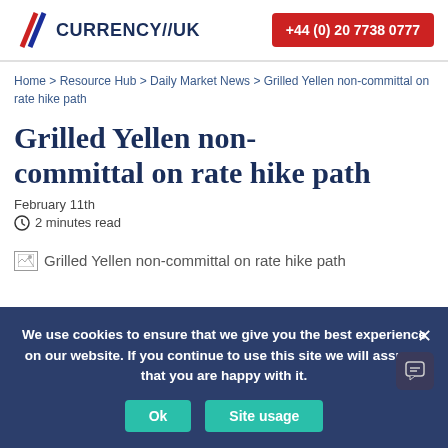CURRENCY//UK  +44 (0) 20 7738 0777
Home > Resource Hub > Daily Market News > Grilled Yellen non-committal on rate hike path
Grilled Yellen non-committal on rate hike path
February 11th
2 minutes read
[Figure (photo): Broken image placeholder for article image: Grilled Yellen non-committal on rate hike path]
We use cookies to ensure that we give you the best experience on our website. If you continue to use this site we will assume that you are happy with it.